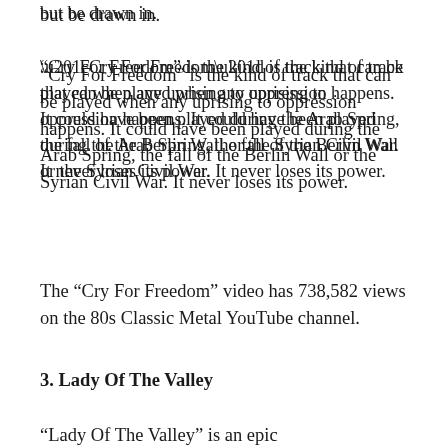but be drawn in.
“Cry For Freedom” is the kind of track that can be played when any uprising to oppression happens. It could have been played during the Arab Spring, the fall of the Berlin Wall or the Syrian Civil War. It never loses its power.
The “Cry For Freedom” video has 738,582 views on the 80s Classic Metal YouTube channel.
3. Lady Of The Valley
“Lady Of The Valley” is an epic